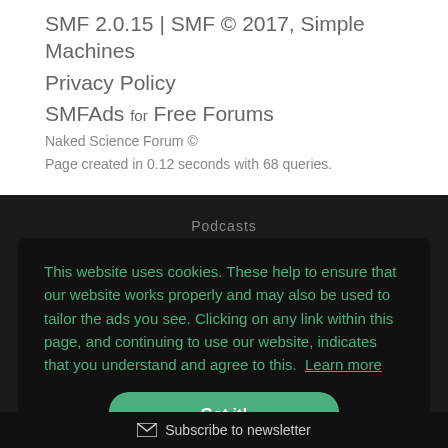SMF 2.0.15 | SMF © 2017, Simple Machines
Privacy Policy
SMFAds for Free Forums
Naked Science Forum ©
Page created in 0.12 seconds with 68 queries.
Podcasts
This website uses cookies. These help to ensure that our website works properly and may also be used to tailor the ads you see. Clicking on any link within this page, and continuing to use our website, indicates that you understand and agree to this. Learn more
Got it!
Subscribe to newsletter